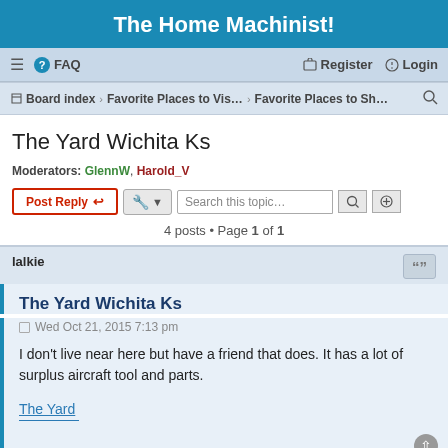The Home Machinist!
≡  FAQ    Register   Login
Board index · Favorite Places to Vis... · Favorite Places to Sh...
The Yard Wichita Ks
Moderators: GlennW, Harold_V
Post Reply  [tools]  Search this topic...
4 posts • Page 1 of 1
lalkie
The Yard Wichita Ks
Wed Oct 21, 2015 7:13 pm
I don't live near here but have a friend that does. It has a lot of surplus aircraft tool and parts.
The Yard
Patio